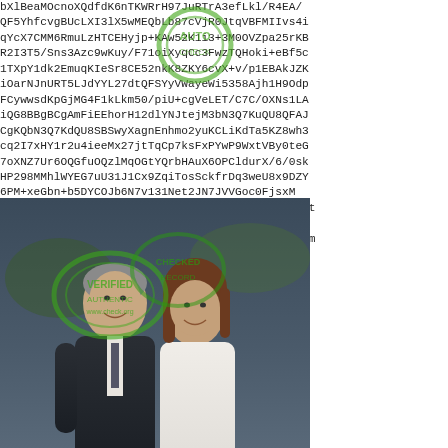[Figure (photo): A photograph of two people (a man and a woman) overlaid on a background of base64/encoded text characters. Green circular watermark stamps are visible overlaid on the image and text. A bag with text is visible in the lower portion of the photo.]
bXlBeaMOcnoXQdfdK6nTKWRrH97JuRTrA3efLkl/R4EA/QF5YhfcvgBUcLXI3lX5wMEQbLb87cVjR0JtqVBFMIIvs4iqYcX7CMM6RmuLzHTCEHyjp+KAw52K1i3+3M0OVZpa25rKBR2I3T5/Sns3Azc9wKuy/F71oiXyqCc3FwzTQHoki+eBf5c1TXpY1dk2EmuqKIeSr8CE52nkK8ZKY6cvX+v/p1EBAkJZKiOarNJnURT5LJdYYL27dtQFSYyVWayeWi5358Ajh1H9Odp...